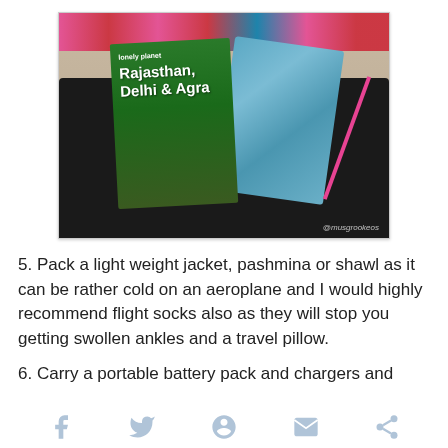[Figure (photo): Travel items including a Lonely Planet Rajasthan, Delhi & Agra guidebook, a blue patterned notebook, colorful fabric pouch, and black travel bags/shawl arranged on a wooden surface]
5. Pack a light weight jacket, pashmina or shawl as it can be rather cold on an aeroplane and I would highly recommend flight socks also as they will stop you getting swollen ankles and a travel pillow.
6. Carry a portable battery pack and chargers and
f  (Twitter bird icon)  p  (envelope icon)  (share icon)